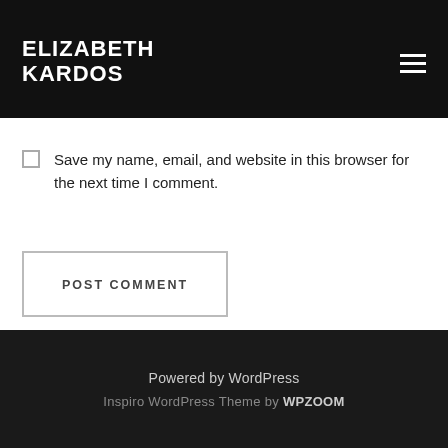ELIZABETH KARDOS
Save my name, email, and website in this browser for the next time I comment.
POST COMMENT
Powered by WordPress
Inspiro WordPress Theme by WPZOOM